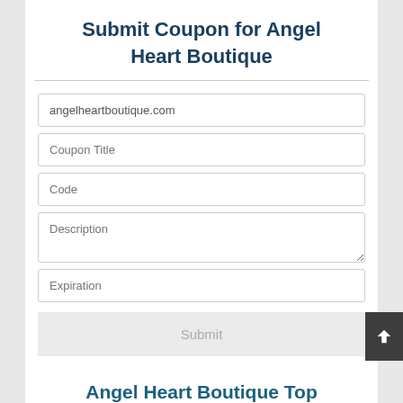Submit Coupon for Angel Heart Boutique
angelheartboutique.com
Coupon Title
Code
Description
Expiration
Submit
Angel Heart Boutique Top